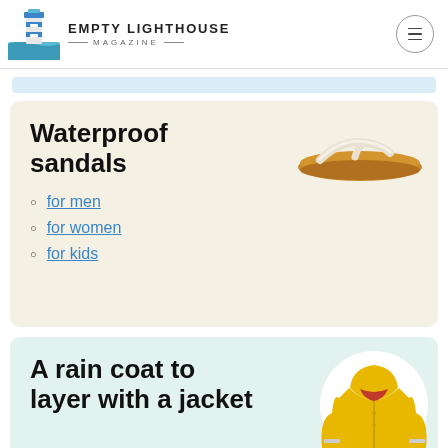EMPTY LIGHTHOUSE MAGAZINE
Waterproof sandals
for men
for women
for kids
A rain coat to layer with a jacket